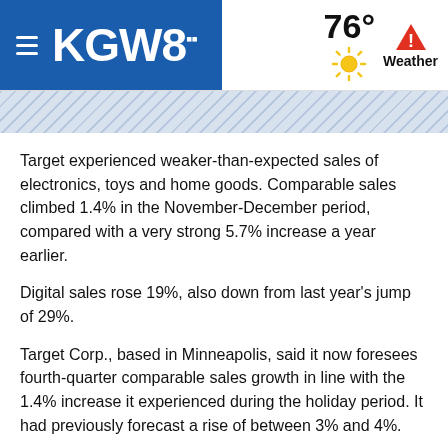KGW8 | 76° Weather
Target experienced weaker-than-expected sales of electronics, toys and home goods. Comparable sales climbed 1.4% in the November-December period, compared with a very strong 5.7% increase a year earlier.
Digital sales rose 19%, also down from last year's jump of 29%.
Target Corp., based in Minneapolis, said it now foresees fourth-quarter comparable sales growth in line with the 1.4% increase it experienced during the holiday period. It had previously forecast a rise of between 3% and 4%.
The latest evidence of weak numbers from a major retailer cast a pall over the entire sector and the broader markets as